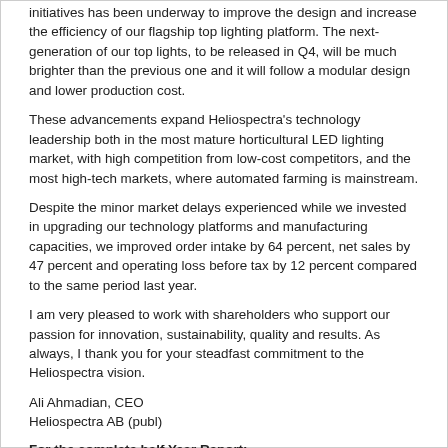initiatives has been underway to improve the design and increase the efficiency of our flagship top lighting platform. The next-generation of our top lights, to be released in Q4, will be much brighter than the previous one and it will follow a modular design and lower production cost.
These advancements expand Heliospectra's technology leadership both in the most mature horticultural LED lighting market, with high competition from low-cost competitors, and the most high-tech markets, where automated farming is mainstream.
Despite the minor market delays experienced while we invested in upgrading our technology platforms and manufacturing capacities, we improved order intake by 64 percent, net sales by 47 percent and operating loss before tax by 12 percent compared to the same period last year.
I am very pleased to work with shareholders who support our passion for innovation, sustainability, quality and results. As always, I thank you for your steadfast commitment to the Heliospectra vision.
Ali Ahmadian, CEO
Heliospectra AB (publ)
For the complete half Year Report:
The report in its entirety is attached and is available for reading at:
http://ir.heliospectra.com/en/reports-downloads/
Gothenburg 2018-08-24
Investor Relations:
Ali Ahmadian, CEO of Heliospectra | +46 (0)72 203 6344
| ir@heliospectra.com
Redeye is Heliospectra Certified Advisor for Nasdaq First North -
www.redeye.se